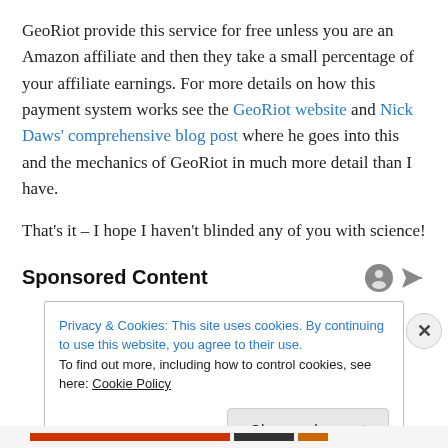GeoRiot provide this service for free unless you are an Amazon affiliate and then they take a small percentage of your affiliate earnings. For more details on how this payment system works see the GeoRiot website and Nick Daws' comprehensive blog post where he goes into this and the mechanics of GeoRiot in much more detail than I have.
That's it – I hope I haven't blinded any of you with science!
Sponsored Content
Privacy & Cookies: This site uses cookies. By continuing to use this website, you agree to their use.
To find out more, including how to control cookies, see here: Cookie Policy